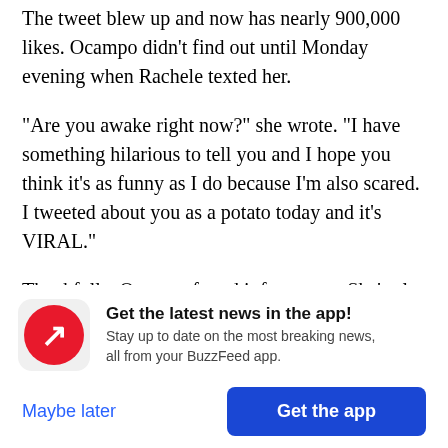The tweet blew up and now has nearly 900,000 likes. Ocampo didn't find out until Monday evening when Rachele texted her.
"Are you awake right now?" she wrote. "I have something hilarious to tell you and I hope you think it's as funny as I do because I'm also scared. I tweeted about you as a potato today and it's VIRAL."
Thankfully, Ocampo found it funny too. She's also been enjoying the replies from people on Twitter.
[Figure (logo): BuzzFeed app promotion banner with red circular logo containing a white trending arrow, headline 'Get the latest news in the app!', subtext 'Stay up to date on the most breaking news, all from your BuzzFeed app.', with 'Maybe later' and 'Get the app' buttons.]